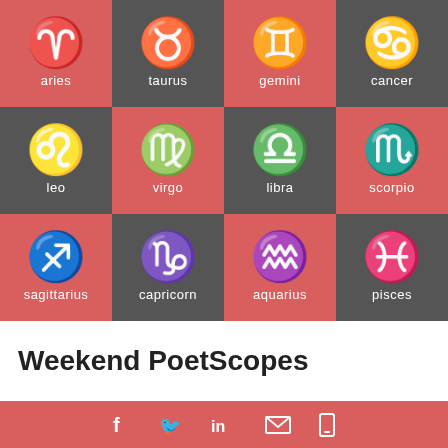[Figure (infographic): 3x4 grid of zodiac signs with alternating red and dark gray checkerboard pattern, each cell showing a zodiac symbol and name. Signs: aries, taurus, gemini, cancer, leo, virgo, libra, scorpio, sagittarius, capricorn, aquarius, pisces. Bottom white bar with 'Weekend PoetScopes' title and red footer with social media icons.]